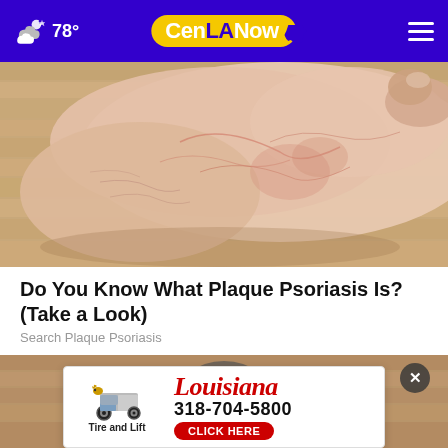CenLA Now — 78°
[Figure (photo): Close-up photo of a human ankle and heel showing dry, cracked, and reddened skin consistent with plaque psoriasis, resting on a light wooden surface.]
Do You Know What Plaque Psoriasis Is? (Take a Look)
Search Plaque Psoriasis
[Figure (photo): Partial view of a second article image, partially obscured by an advertisement overlay. A close-up circular dish of food or substance visible on a wooden surface.]
[Figure (other): Advertisement banner for Louisiana Tire and Lift showing tire and truck graphic, red cursive Louisiana logo text, phone number 318-704-5800, and CLICK HERE button. An X close button appears in the top-right corner of the overlay.]